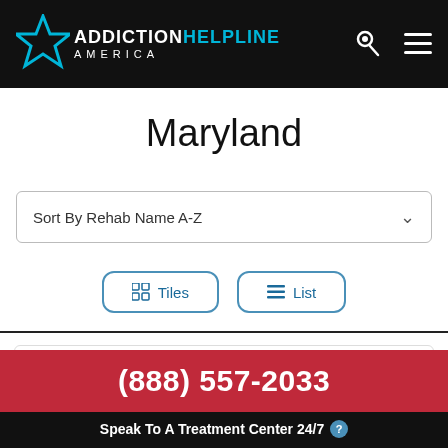ADDICTION HELPLINE AMERICA
Maryland
Sort By Rehab Name A-Z
Tiles  List
A Step Forward
(888) 557-2033 Speak To A Treatment Center 24/7